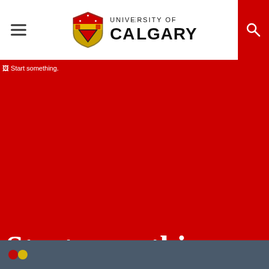University of Calgary — navigation header with hamburger menu and search button
[Figure (screenshot): University of Calgary website hero section with large red background and broken image placeholder reading 'Start something.']
Start something.
[Figure (photo): Bottom grey strip showing partial content of a secondary section]